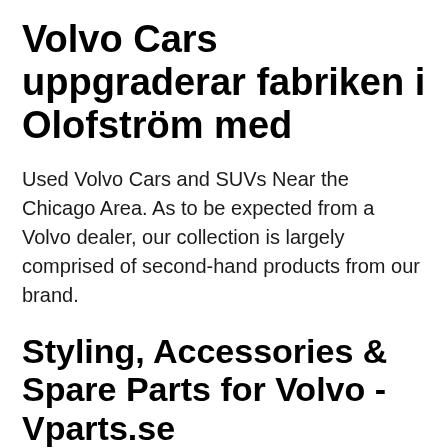Volvo Cars uppgraderar fabriken i Olofström med
Used Volvo Cars and SUVs Near the Chicago Area. As to be expected from a Volvo dealer, our collection is largely comprised of second-hand products from our brand.
Styling, Accessories & Spare Parts for Volvo - Vparts.se
Read More We are your Bexar County CTY Volvo Dealer serving New Braunfels! Browse our new &